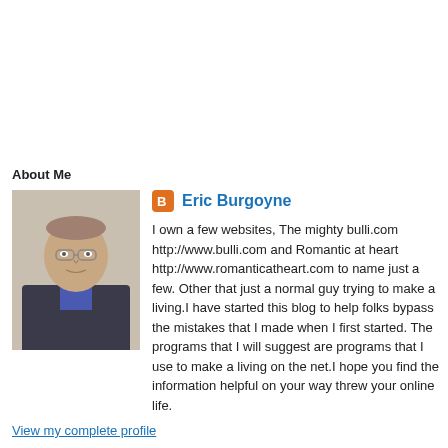About Me
[Figure (photo): Profile photo of Eric Burgoyne, an older man with glasses wearing a dark jacket]
Eric Burgoyne
I own a few websites, The mighty bulli.com http://www.bulli.com and Romantic at heart http://www.romanticatheart.com to name just a few. Other that just a normal guy trying to make a living.I have started this blog to help folks bypass the mistakes that I made when I first started. The programs that I will suggest are programs that I use to make a living on the net.I hope you find the information helpful on your way threw your online life.
View my complete profile
Powered by Blogger.